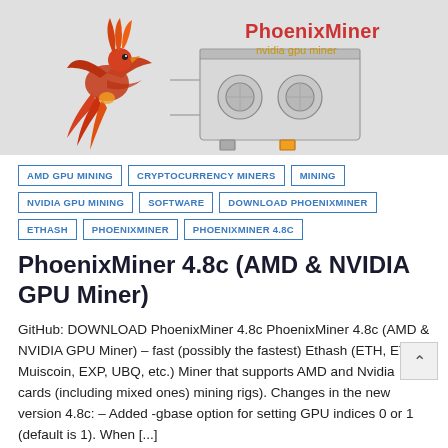[Figure (illustration): PhoenixMiner banner with phoenix bird logo on left and GPU mining rig illustration on right, with text 'PhoenixMiner' in red and 'nvidia gpu miner' in gold on a light grey background]
AMD GPU MINING
CRYPTOCURRENCY MINERS
MINING
NVIDIA GPU MINING
SOFTWARE
DOWNLOAD PHOENIXMINER
ETHASH
PHOENIXMINER
PHOENIXMINER 4.8C
PhoenixMiner 4.8c (AMD & NVIDIA GPU Miner)
GitHub: DOWNLOAD PhoenixMiner 4.8c PhoenixMiner 4.8c (AMD & NVIDIA GPU Miner) – fast (possibly the fastest) Ethash (ETH, ETC, Muiscoin, EXP, UBQ, etc.) Miner that supports AMD and Nvidia cards (including mixed ones) mining rigs). Changes in the new version 4.8c: – Added -gbase option for setting GPU indices 0 or 1 (default is 1). When [...]